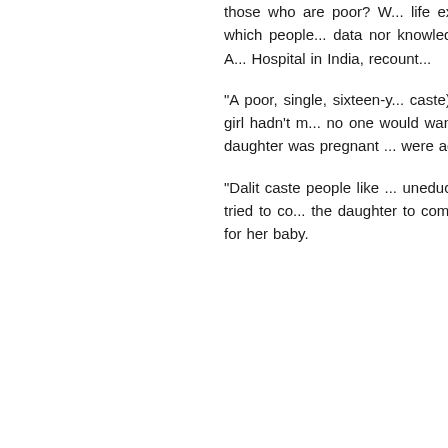those who are poor? We could measure life expectancy. We could measure the degree to which people ... data nor knowledge th... humanity and heroism. A... Hospital in India, recount...
“A poor, single, sixteen-y... caste) came into my c... because the girl hadn’t m... no one would want to ... families if they can’t m... daughter was pregnant ... were adamant that the c...
“Dalit caste people like ... uneducated she may n... Indian doctor tried to co... the daughter to come ... train to be a nurse’s assi... for her baby.